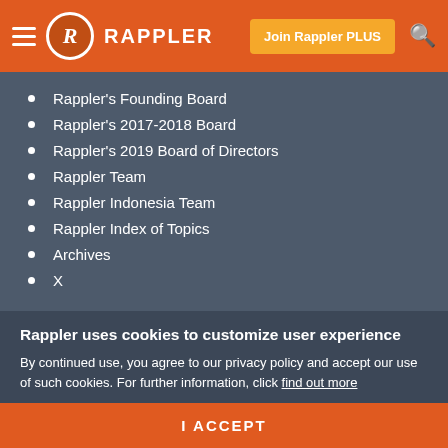Rappler — Join Rappler PLUS
Rappler's Founding Board
Rappler's 2017-2018 Board
Rappler's 2019 Board of Directors
Rappler Team
Rappler Indonesia Team
Rappler Index of Topics
Archives
X
Privacy statement
Terms of Use
Rappler uses cookies to customize user experience
By continued use, you agree to our privacy policy and accept our use of such cookies. For further information, click find out more
I ACCEPT